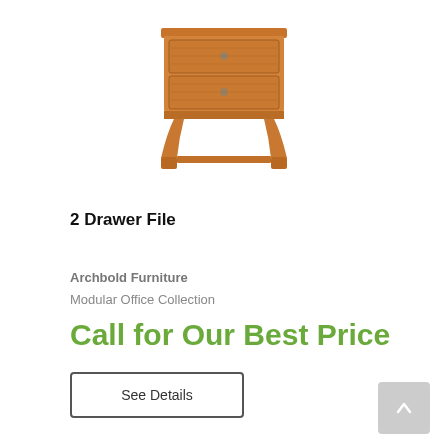[Figure (photo): A two-drawer wooden file cabinet in a medium cherry/honey oak finish with round metal knobs, featuring curved legs and a classic Shaker-style design.]
2 Drawer File
Archbold Furniture
Modular Office Collection
Call for Our Best Price
See Details